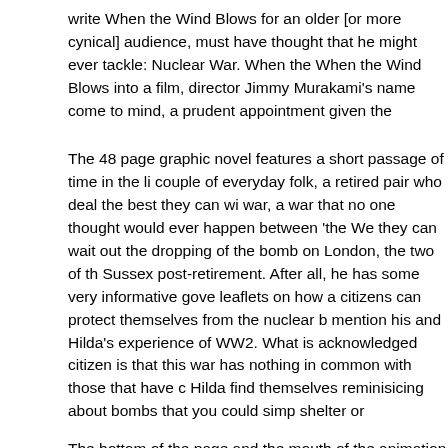write When the Wind Blows for an older [or more cynical] audience, must have thought that he might ever tackle: Nuclear War. When the When the Wind Blows into a film, director Jimmy Murakami's name come to mind, a prudent appointment given the eventual result.
The 48 page graphic novel features a short passage of time in the li couple of everyday folk, a retired pair who deal the best they can wi war, a war that no one thought would ever happen between 'the We they can wait out the dropping of the bomb on London, the two of th Sussex post-retirement. After all, he has some very informative gove leaflets on how a citizens can protect themselves from the nuclear b mention his and Hilda's experience of WW2. What is acknowledged citizen is that this war has nothing in common with those that have c Hilda find themselves reminisicing about bombs that you could simp shelter or Underground station and having daydreams about what th suddenly made his way up the garden path towards the house, furry thick moustache and all. When the unthinkable happens the viewer encompassing despair and sadness as Jim and Hilda struggle along of desperately clung-to routines and reassurances that it would all b
The bottom of the page and the mouth of the animation that Bri...